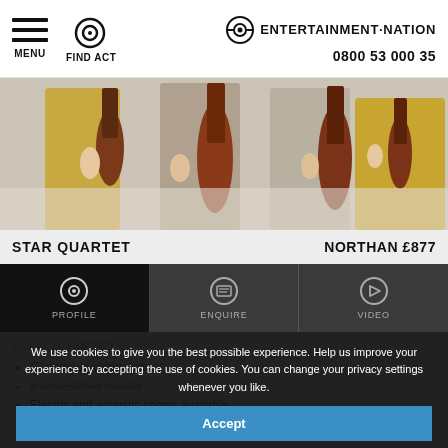MENU  FIND ACT  ENTERTAINMENT·NATION  0800 53 000 35
[Figure (photo): Four women in gold/sequin dresses holding string instruments (violins/cellos) against a light background]
STAR QUARTET  NORTHAN £877
[Figure (infographic): Tab navigation bar with three icons: eye (PROFILE), clipboard (ENQUIRE), play (VIDEO)]
STAR QUARTET
Glamorous string quartet
5 piece string quartet
Electric and acoustic shows available
Pop, rock, classical, TV and film covers
We use cookies to give you the best possible experience. Help us improve your experience by accepting the use of cookies. You can change your privacy settings whenever you like.
Accept